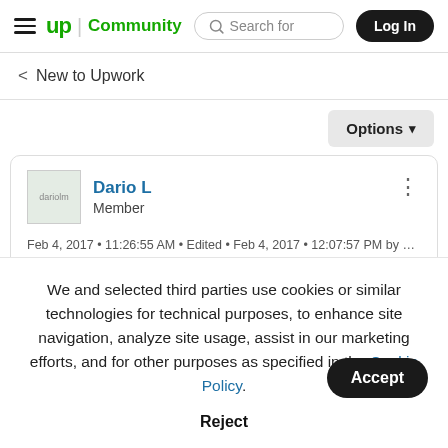up Community | Search for | Log In
< New to Upwork
Options ▾
Dario L
Member
Feb 4, 2017 • 11:26:55 AM • Edited • Feb 4, 2017 • 12:07:57 PM by Dar
We and selected third parties use cookies or similar technologies for technical purposes, to enhance site navigation, analyze site usage, assist in our marketing efforts, and for other purposes as specified in the Cookie Policy.
Accept
Reject